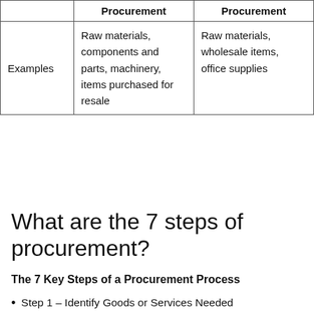|  | Procurement | Procurement |
| --- | --- | --- |
| Examples | Raw materials, components and parts, machinery, items purchased for resale | Raw materials, wholesale items, office supplies |
What are the 7 steps of procurement?
The 7 Key Steps of a Procurement Process
Step 1 – Identify Goods or Services Needed